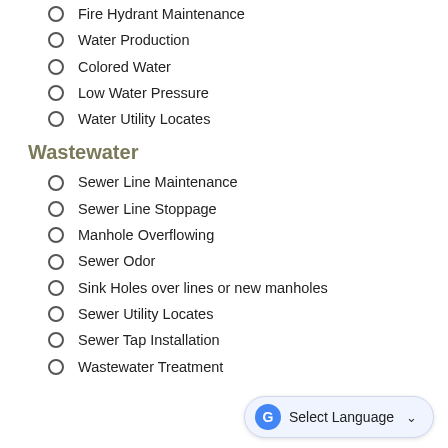Fire Hydrant Maintenance
Water Production
Colored Water
Low Water Pressure
Water Utility Locates
Wastewater
Sewer Line Maintenance
Sewer Line Stoppage
Manhole Overflowing
Sewer Odor
Sink Holes over lines or new manholes
Sewer Utility Locates
Sewer Tap Installation
Wastewater Treatment
Select Language